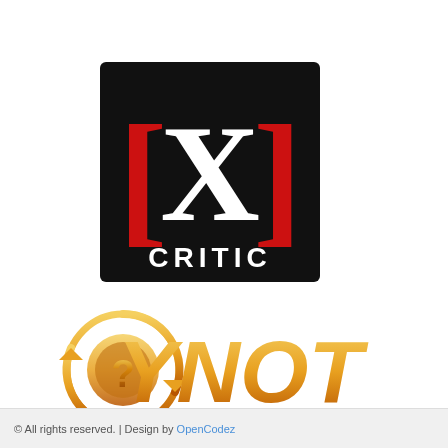[Figure (logo): XCritic logo: black square background with large white X flanked by red brackets, and the word CRITIC in white below]
[Figure (logo): YNOT logo: gold 3D stylized text reading YNOT with a circular arrow emblem containing a question mark on the left, and www.ynot.com text below on an orange background strip]
© All rights reserved. | Design by OpenCodez